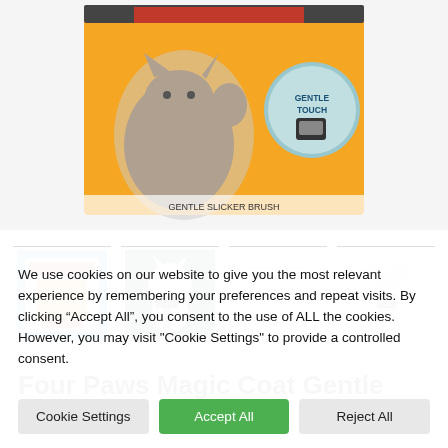[Figure (photo): Main product image showing Four Paws Magic Coat Gentle Slicker Brush packaging with a cat and orange background, plus a circular inset reading 'Gentle Touch']
[Figure (photo): Thumbnail 1: Product packaging front view]
[Figure (photo): Thumbnail 2: Product in use with a white cat]
[Figure (photo): Thumbnail 3: Product specifications/text sheet]
[Figure (photo): Thumbnail 4: Product on white background]
Four Paws Magic Coat Gentle
We use cookies on our website to give you the most relevant experience by remembering your preferences and repeat visits. By clicking “Accept All”, you consent to the use of ALL the cookies. However, you may visit "Cookie Settings" to provide a controlled consent.
Cookie Settings | Accept All | Reject All